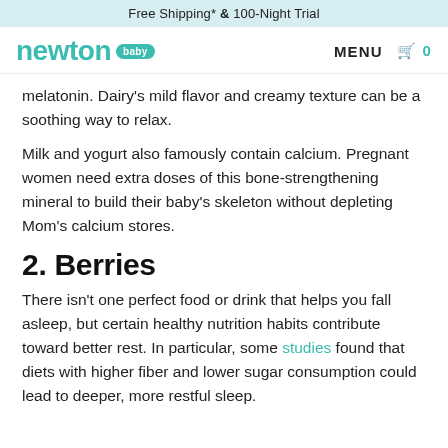Free Shipping* & 100-Night Trial
[Figure (logo): Newton Baby logo with teal wordmark and 'baby' badge]
melatonin. Dairy's mild flavor and creamy texture can be a soothing way to relax.
Milk and yogurt also famously contain calcium. Pregnant women need extra doses of this bone-strengthening mineral to build their baby's skeleton without depleting Mom's calcium stores.
2. Berries
There isn't one perfect food or drink that helps you fall asleep, but certain healthy nutrition habits contribute toward better rest. In particular, some studies found that diets with higher fiber and lower sugar consumption could lead to deeper, more restful sleep.